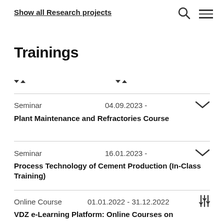Show all Research projects
Trainings
Seminar  04.09.2023 -
Plant Maintenance and Refractories Course
Seminar  16.01.2023 -
Process Technology of Cement Production (In-Class Training)
Online Course  01.01.2022 - 31.12.2022
VDZ e-Learning Platform: Online Courses on